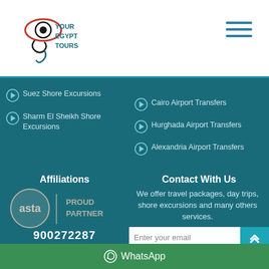[Figure (logo): Your Egypt Tours logo with stylized eye and hand graphic]
Suez Shore Excursions
Sharm El Sheikh Shore Excursions
Cairo Airport Transfers
Hurghada Airport Transfers
Alexandria Airport Transfers
Affiliations
[Figure (logo): ASTA Proud Partner logo]
900272287
[Figure (logo): IATA Accredited Agent logo]
Contact With Us
We offer travel packages, day trips, shore excursions and many others services.
Enter your email
SUBMIT
WhatsApp